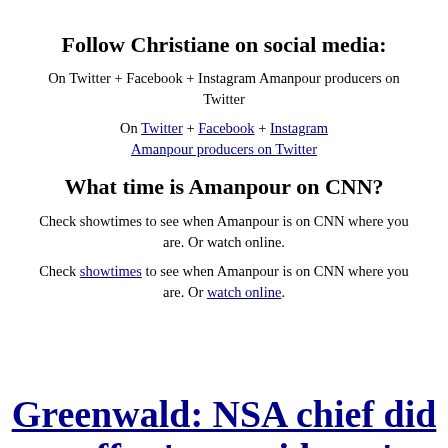Follow Christiane on social media:
On Twitter + Facebook + Instagram Amanpour producers on Twitter
On Twitter + Facebook + Instagram Amanpour producers on Twitter
What time is Amanpour on CNN?
Check showtimes to see when Amanpour is on CNN where you are. Or watch online.
Check showtimes to see when Amanpour is on CNN where you are. Or watch online.
Greenwald: NSA chief did not offer ‘any evidence’ to